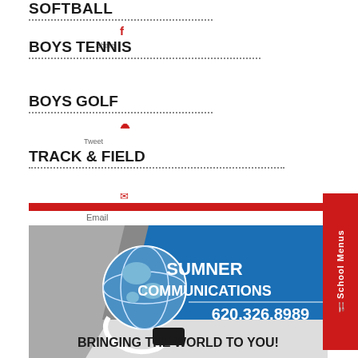SOFTBALL
BOYS TENNIS
BOYS GOLF
TRACK & FIELD
Email
[Figure (advertisement): Sumner Communications advertisement with globe logo. Text: SUMNER COMMUNICATIONS, 620.326.8989, BRINGING THE WORLD TO YOU!]
RED RAVE POSTERS
CIRCA 2005